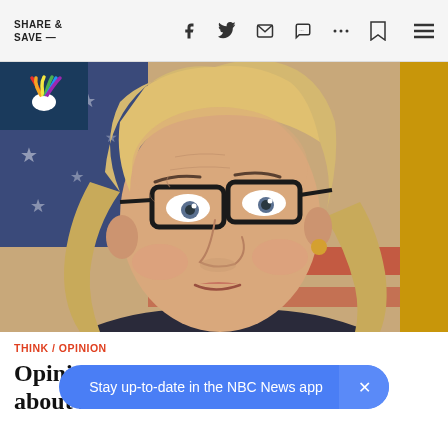SHARE & SAVE —
[Figure (photo): Close-up photo of Liz Cheney wearing black-rimmed glasses, with blonde hair, in front of an American flag background. NBC News logo visible in top-left corner.]
THINK / OPINION
Opinion | Some inconvenient truths about Liz Che…
Stay up-to-date in the NBC News app